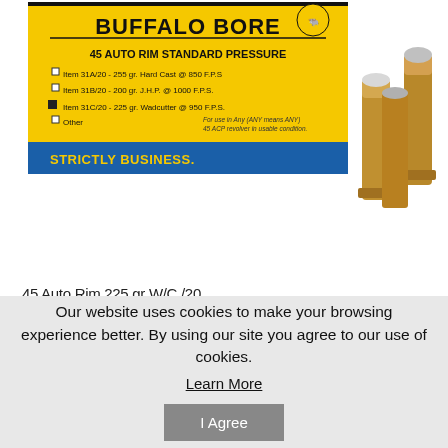[Figure (photo): Buffalo Bore 45 Auto Rim Standard Pressure ammunition box (yellow and blue) with brass cartridges beside it. Box lists: Item 31A/20 - 255 gr. Hard Cast @ 850 F.P.S., Item 31B/20 - 200 gr. J.H.P. @ 1000 F.P.S., Item 31C/20 - 225 gr. Wadcutter @ 950 F.P.S., Other. Tagline: STRICTLY BUSINESS.]
45 Auto Rim 225 gr W/C /20
Our website uses cookies to make your browsing experience better. By using our site you agree to our use of cookies.
Learn More
I Agree